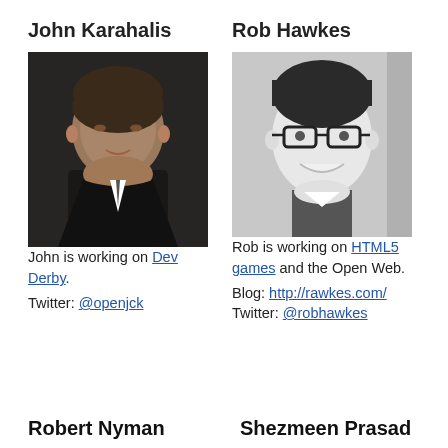John Karahalis
[Figure (photo): Portrait photo of John Karahalis, a young man in a dark suit, smiling, color photo]
John is working on Dev Derby.
Twitter: @openjck
Rob Hawkes
[Figure (photo): Portrait photo of Rob Hawkes, a young man with glasses, smiling, black and white photo]
Rob is working on HTML5 games and the Open Web.
Blog: http://rawkes.com/
Twitter: @robhawkes
Robert Nyman
Shezmeen Prasad